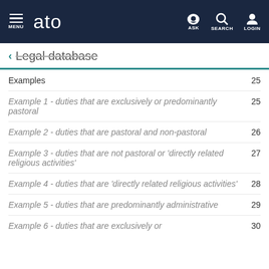MENU  ato  ASK  SEARCH  LOGIN
Legal database
Examples  25
Example 1 - duties that are exclusively or predominantly pastoral  25
Example 2 - duties that are pastoral and non-pastoral  26
Example 3 - duties that are not pastoral or 'directly related religious activities'  27
Example 4 - duties that are 'directly related religious activities'  28
Example 5 - duties that are predominantly administrative  29
Example 6 - duties that are exclusively or  30